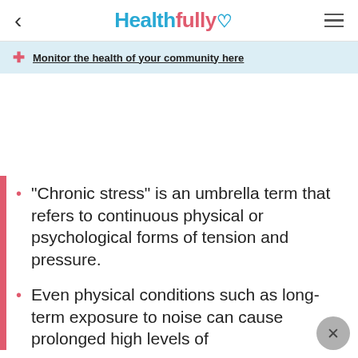Healthfully
Monitor the health of your community here
"Chronic stress" is an umbrella term that refers to continuous physical or psychological forms of tension and pressure.
Even physical conditions such as long-term exposure to noise can cause prolonged high levels of